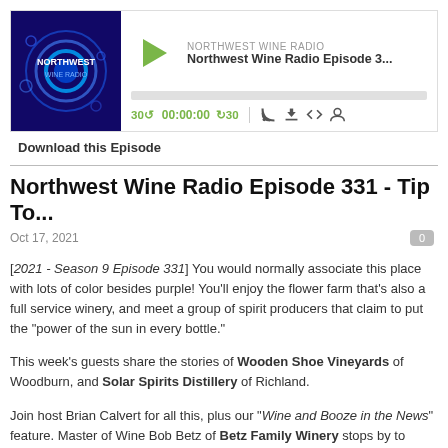[Figure (screenshot): Podcast audio player widget for Northwest Wine Radio. Shows podcast thumbnail with 'NORTHWEST WINE RADIO' text on dark blue background with glowing circle design. Player has a green play button, episode title 'Northwest Wine Radio Episode 3...', show name 'NORTHWEST WINE RADIO', progress bar, and controls including 30-second skip back/forward, time display 00:00:00, RSS, download, embed, and subscribe icons.]
Download this Episode
Northwest Wine Radio Episode 331 - Tip To...
Oct 17, 2021
[2021 - Season 9 Episode 331]  You would normally associate this place with lots of color besides purple!  You'll enjoy the flower farm that's also a full service winery, and meet a group of spirit producers that claim to put the "power of the sun in every bottle."

This week's guests share the stories of Wooden Shoe Vineyards of Woodburn, and Solar Spirits Distillery of Richland.

Join host Brian Calvert for all this, plus our "Wine and Booze in the News" feature.  Master of Wine Bob Betz of Betz Family Winery stops by to answer our wine questions in his segment "Ask Bob," Cote Bonneville winemaker Kerry Shiels has a food pairing in "Bites & Bottles," and Justin Stiefel of